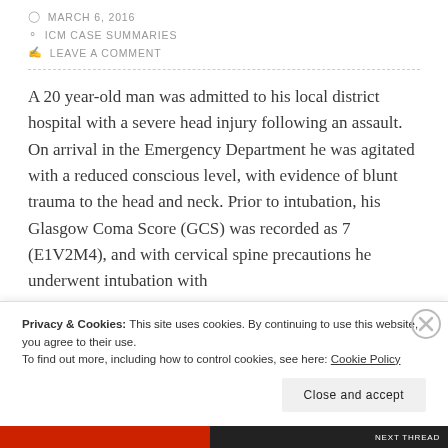MARCH 6, 2016
ICM CASE SUMMARIES
LEAVE A COMMENT
A 20 year-old man was admitted to his local district hospital with a severe head injury following an assault. On arrival in the Emergency Department he was agitated with a reduced conscious level, with evidence of blunt trauma to the head and neck. Prior to intubation, his Glasgow Coma Score (GCS) was recorded as 7 (E1V2M4), and with cervical spine precautions he underwent intubation with
Privacy & Cookies: This site uses cookies. By continuing to use this website, you agree to their use.
To find out more, including how to control cookies, see here: Cookie Policy
Close and accept